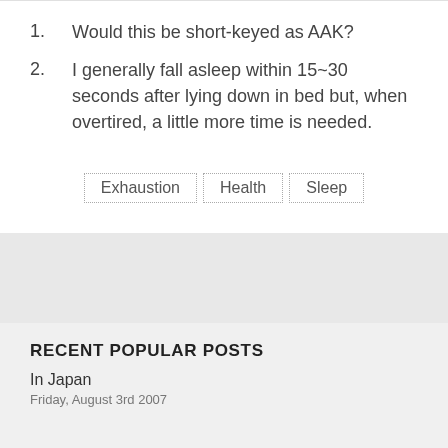1. Would this be short-keyed as AAK?
2. I generally fall asleep within 15~30 seconds after lying down in bed but, when overtired, a little more time is needed.
Exhaustion   Health   Sleep
RECENT POPULAR POSTS
In Japan
Friday, August 3rd 2007